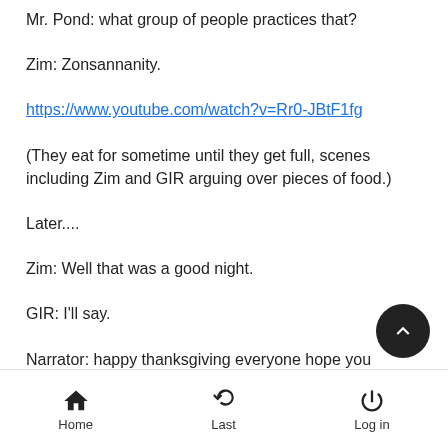Mr. Pond: what group of people practices that?
Zim: Zonsannanity.
https://www.youtube.com/watch?v=Rr0-JBtF1fg
(They eat for sometime until they get full, scenes including Zim and GIR arguing over pieces of food.)
Later....
Zim: Well that was a good night.
GIR: I'll say.
Narrator: happy thanksgiving everyone hope you enjoyed the show.
Home   Last   Log in